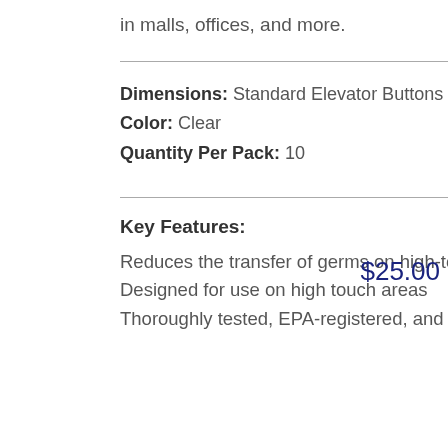in malls, offices, and more.
Dimensions: Standard Elevator Buttons 0.875"
Color: Clear
Quantity Per Pack: 10
Key Features:
Reduces the transfer of germs on high-touch ADA push plates
Designed for use on high touch areas
Thoroughly tested, EPA-registered, and latex-free
$25.00